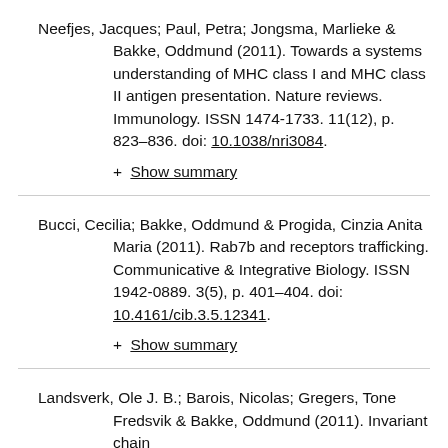Neefjes, Jacques; Paul, Petra; Jongsma, Marlieke & Bakke, Oddmund (2011). Towards a systems understanding of MHC class I and MHC class II antigen presentation. Nature reviews. Immunology. ISSN 1474-1733. 11(12), p. 823–836. doi: 10.1038/nri3084.
+ Show summary
Bucci, Cecilia; Bakke, Oddmund & Progida, Cinzia Anita Maria (2011). Rab7b and receptors trafficking. Communicative & Integrative Biology. ISSN 1942-0889. 3(5), p. 401–404. doi: 10.4161/cib.3.5.12341.
+ Show summary
Landsverk, Ole J. B.; Barois, Nicolas; Gregers, Tone Fredsvik & Bakke, Oddmund (2011). Invariant chain